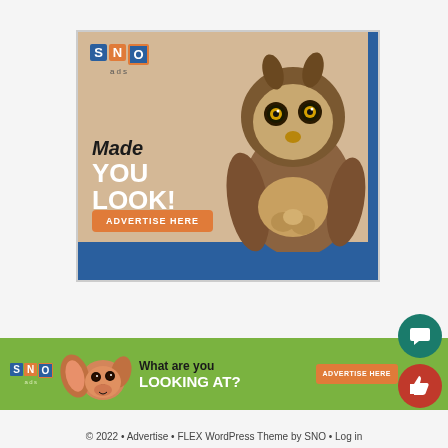[Figure (illustration): SNO ads banner advertisement with an owl tilting its head, text 'Made YOU LOOK!', and an orange 'ADVERTISE HERE' button on a tan/beige background with blue accents]
[Figure (illustration): SNO ads horizontal banner with a Chihuahua dog, text 'What are you LOOKING AT?' and orange 'ADVERTISE HERE' button on a green background]
© 2022 • Advertise • FLEX WordPress Theme by SNO • Log in